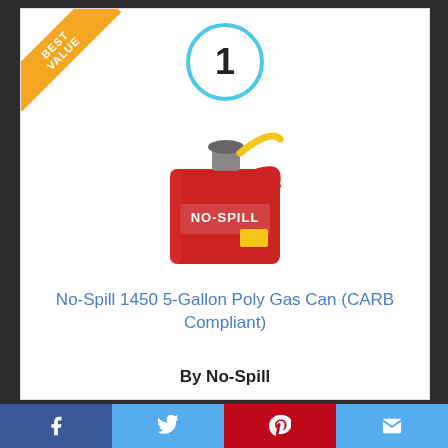[Figure (infographic): Best Value corner banner in gold/orange diagonal ribbon on top-left of product card]
[Figure (infographic): Blue circle with number 1 inside, indicating #1 ranked product]
[Figure (photo): Red No-Spill 1450 5-gallon poly gas can with yellow spout on white background]
No-Spill 1450 5-Gallon Poly Gas Can (CARB Compliant)
By No-Spill
View Product
Facebook | Twitter | Pinterest | Email